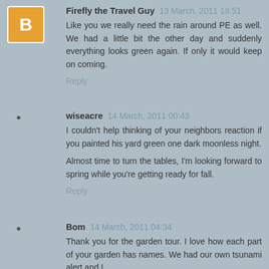Firefly the Travel Guy 13 March, 2011 19:51
Like you we really need the rain around PE as well. We had a little bit the other day and suddenly everything looks green again. If only it would keep on coming.
Reply
wiseacre 14 March, 2011 00:43
I couldn't help thinking of your neighbors reaction if you painted his yard green one dark moonless night.
Almost time to turn the tables, I'm looking forward to spring while you're getting ready for fall.
Reply
Bom 14 March, 2011 04:34
Thank you for the garden tour. I love how each part of your garden has names. We had our own tsunami alert and I